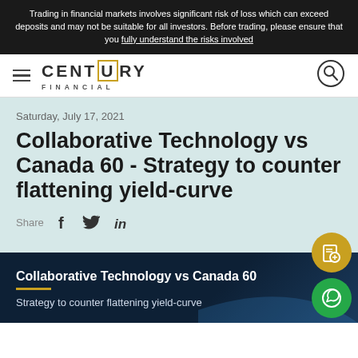Trading in financial markets involves significant risk of loss which can exceed deposits and may not be suitable for all investors. Before trading, please ensure that you fully understand the risks involved
[Figure (logo): Century Financial logo with hamburger menu and search icon]
Saturday, July 17, 2021
Collaborative Technology vs Canada 60 - Strategy to counter flattening yield-curve
Share
[Figure (illustration): Dark navy hero banner with white bold text 'Collaborative Technology vs Canada 60', yellow underline, subtext 'Strategy to counter flattening yield-curve', with floating gold and green action buttons]